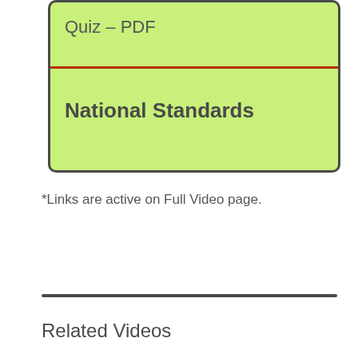[Figure (other): Green rounded box containing 'Quiz - PDF' text at top, a red horizontal divider line, and 'National Standards' bold text below]
*Links are active on Full Video page.
Related Videos